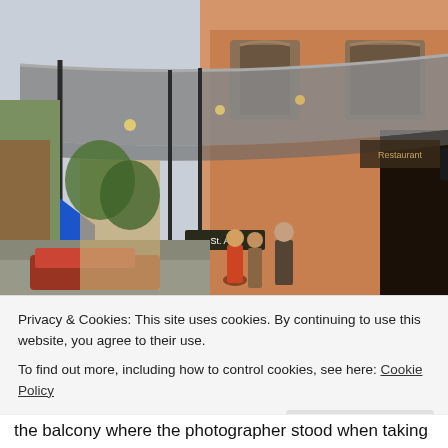[Figure (photo): Street scene in New Orleans French Quarter showing a building with orange/peach exterior, a metal awning/canopy with hanging lights, blue Louisiana fleur-de-lis flags on the left side, a One Way street sign, a St. Ann street sign, pedestrians walking on the sidewalk, and a red car parked on the street.]
Privacy & Cookies: This site uses cookies. By continuing to use this website, you agree to their use.
To find out more, including how to control cookies, see here: Cookie Policy
the balcony where the photographer stood when taking